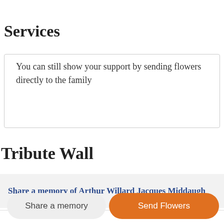Services
You can still show your support by sending flowers directly to the family
Tribute Wall
Share a memory of Arthur Willard Jacques Middaugh
Share a memory
Send Flowers